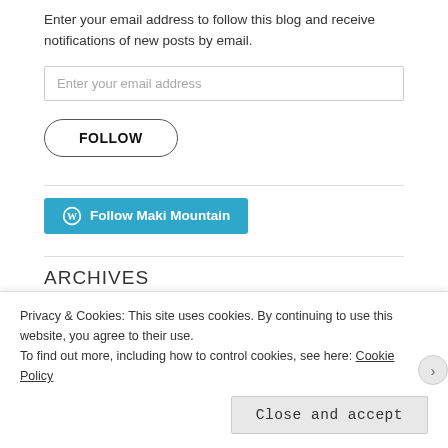Enter your email address to follow this blog and receive notifications of new posts by email.
Enter your email address
FOLLOW
[Figure (other): Blue WordPress Follow Maki Mountain button with WordPress logo icon]
ARCHIVES
Privacy & Cookies: This site uses cookies. By continuing to use this website, you agree to their use. To find out more, including how to control cookies, see here: Cookie Policy
Close and accept